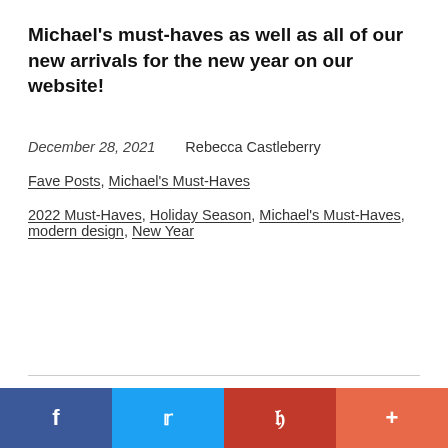Michael's must-haves as well as all of our new arrivals for the new year on our website!
December 28, 2021    Rebecca Castleberry
Fave Posts, Michael's Must-Haves
2022 Must-Haves, Holiday Season, Michael's Must-Haves, modern design, New Year